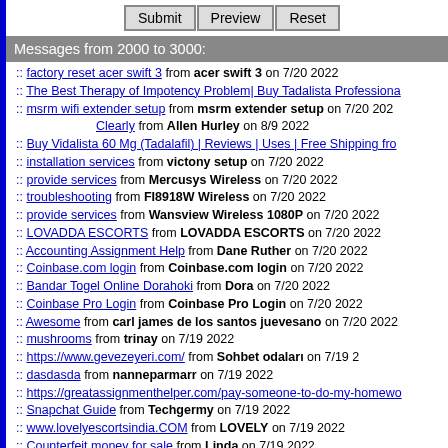Submit | Preview | Reset
Messages from 2000 to 3000:
:: factory reset acer swift 3 from acer swift 3 on 7/20 2022
:: The Best Therapy of Impotency Problem| Buy Tadalista Professiona…
::  msrm wifi extender setup from msrm extender setup on 7/20 202…
Clearly from Allen Hurley on 8/9 2022
:: Buy Vidalista 60 Mg (Tadalafil) | Reviews | Uses | Free Shipping fro…
:: installation services from victony setup on 7/20 2022
:: provide services from Mercusys Wireless on 7/20 2022
:: troubleshooting from FI8918W Wireless on 7/20 2022
:: provide services from Wansview Wireless 1080P on 7/20 2022
:: LOVADDA ESCORTS from LOVADDA ESCORTS on 7/20 2022
:: Accounting Assignment Help from Dane Ruther on 7/20 2022
:: Coinbase.com login from Coinbase.com login on 7/20 2022
:: Bandar Togel Online Dorahoki from Dora on 7/20 2022
:: Coinbase Pro Login from Coinbase Pro Login on 7/20 2022
:: Awesome from carl james de los santos juevesano on 7/20 2022
:: mushrooms from trinay on 7/19 2022
:: https://www.gevezeyeri.com/ from Sohbet odalar&#305; on 7/19 2…
:: dasdasda from nanneparmarr on 7/19 2022
:: https://greatassignmenthelper.com/pay-someone-to-do-my-homewo…
:: Snapchat Guide from Techgermy on 7/19 2022
:: www.lovelyescortsindia.COM from LOVELY on 7/19 2022
:: Counterfeit money for sale from Linda on 7/19 2022
:: Buy hydromorphon-kaufen online from rxapothek on 7/19 2022
Buy pure Crack Cocaine Online 98% from cocainee on 8/9 201…
:: holo from boolo on 7/19 2022